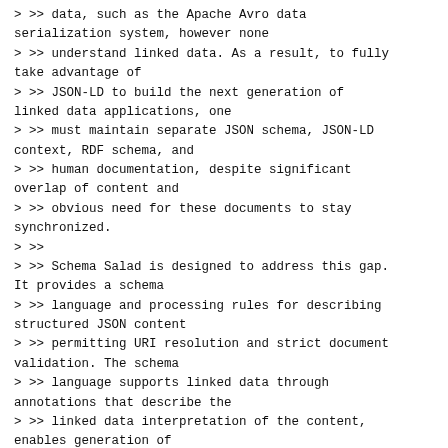> >> data, such as the Apache Avro data serialization system, however none
> >> understand linked data. As a result, to fully take advantage of
> >> JSON-LD to build the next generation of linked data applications, one
> >> must maintain separate JSON schema, JSON-LD context, RDF schema, and
> >> human documentation, despite significant overlap of content and
> >> obvious need for these documents to stay synchronized.
> >>
> >> Schema Salad is designed to address this gap. It provides a schema
> >> language and processing rules for describing structured JSON content
> >> permitting URI resolution and strict document validation. The schema
> >> language supports linked data through annotations that describe the
> >> linked data interpretation of the content, enables generation of
> >> JSON-LD context and RDF schema, and production of RDF triples by
> >> applying the JSON-LD context. The schema language also provides for
> >> robust support of inline documentation.
> >>